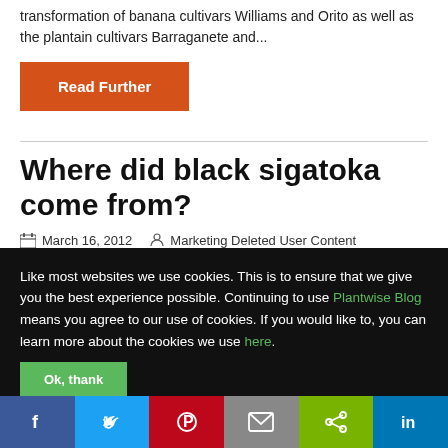transformation of banana cultivars Williams and Orito as well as the plantain cultivars Barraganete and...
Read Further
Where did black sigatoka come from?
March 16, 2012    Marketing Deleted User Content
Like most websites we use cookies. This is to ensure that we give you the best experience possible. Continuing to use Plantwise Blog means you agree to our use of cookies. If you would like to, you can learn more about the cookies we use here.